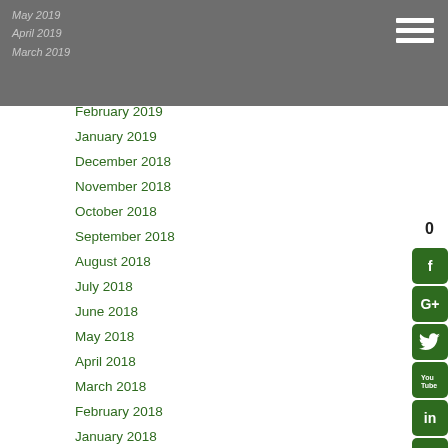May 2019 / April 2019 / March 2019
February 2019
January 2019
December 2018
November 2018
October 2018
September 2018
August 2018
July 2018
June 2018
May 2018
April 2018
March 2018
February 2018
January 2018
December 2017
November 2017
September 2017
August 2017
July 2017
June 2017
May 2017
April 2017
February 2017
January 2017
December 2016